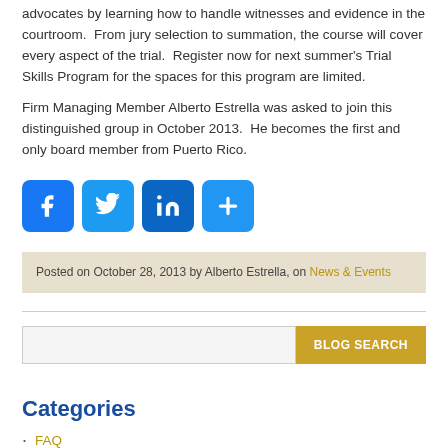advocates by learning how to handle witnesses and evidence in the courtroom.  From jury selection to summation, the course will cover every aspect of the trial.  Register now for next summer's Trial Skills Program for the spaces for this program are limited.
Firm Managing Member Alberto Estrella was asked to join this distinguished group in October 2013.  He becomes the first and only board member from Puerto Rico.
[Figure (infographic): Social media share icons: Facebook, Twitter, LinkedIn, and a plus/share button]
Posted on October 28, 2013 by Alberto Estrella, on News & Events
Categories
FAQ